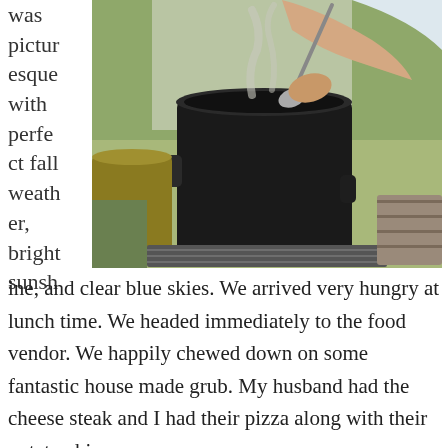was picturesque with perfect fall weather, bright sunshine,
[Figure (photo): A person ladling from a large black metal cooking pot outdoors, with smoke rising and grass visible in the background. The pot sits on a metal grate.]
ine, and clear blue skies. We arrived very hungry at lunch time. We headed immediately to the food vendor. We happily chewed down on some fantastic house made grub. My husband had the cheese steak and I had their pizza along with their potato chips.